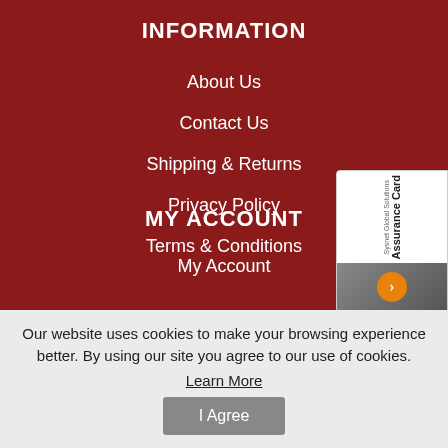INFORMATION
About Us
Contact Us
Shipping & Returns
Privacy Policy
Terms & Conditions
MY ACCOUNT
My Account
[Figure (screenshot): Sysnet Global Solutions Assurance Card with orange arrow button on grey background]
Our website uses cookies to make your browsing experience better. By using our site you agree to our use of cookies. Learn More
I Agree